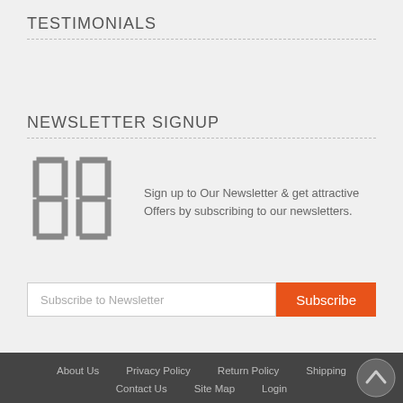TESTIMONIALS
NEWSLETTER SIGNUP
[Figure (illustration): Two digital clock-style digit display icons side by side, rendered in gray]
Sign up to Our Newsletter & get attractive Offers by subscribing to our newsletters.
Subscribe to Newsletter
Subscribe
About Us  Privacy Policy  Return Policy  Shipping  Contact Us  Site Map  Login